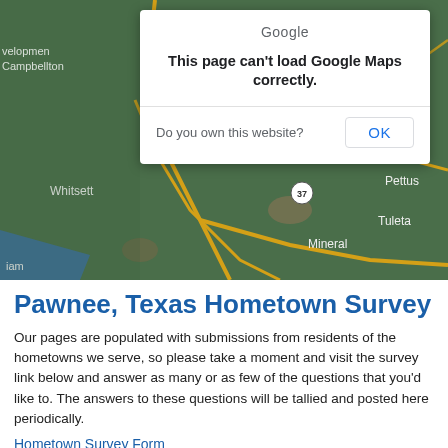[Figure (map): Google Maps screenshot showing Pawnee, Texas area with roads and surrounding towns including Whitsett, Campbellton, Pettus, Tuleta, Mineral. Route 37 and 181 visible. A Google Maps error dialog overlays the top-right of the map saying 'This page can't load Google Maps correctly.' with an OK button and 'Do you own this website?' text.]
Pawnee, Texas Hometown Survey
Our pages are populated with submissions from residents of the hometowns we serve, so please take a moment and visit the survey link below and answer as many or as few of the questions that you'd like to. The answers to these questions will be tallied and posted here periodically.
Hometown Survey Form